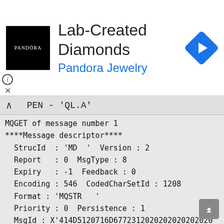[Figure (logo): Pandora Jewelry advertisement banner with Pandora logo (black square with PANDORA text), headline 'Lab-Created Diamonds', subheading 'Pandora Jewelry' in blue, and a blue navigation arrow icon]
^ PEN - 'QL.A'
MQGET of message number 1
****Message descriptor****
  StrucId  : 'MD  '  Version : 2
  Report   : 0  MsgType : 8
  Expiry   : -1  Feedback : 0
  Encoding : 546  CodedCharSetId : 1208
  Format : 'MQSTR   '
  Priority : 0  Persistence : 1
  MsgId : X'414D5120716D677231202020202020200
  CorrelId : X'000000000000000000000000000000000
  BackoutCount : 0
  ReplyToQ         : '